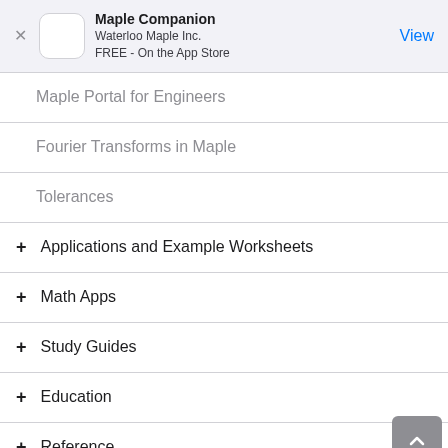Maple Companion
Waterloo Maple Inc.
FREE - On the App Store
Maple Portal for Engineers
Fourier Transforms in Maple
Tolerances
+ Applications and Example Worksheets
+ Math Apps
+ Study Guides
+ Education
+ Reference
+ System